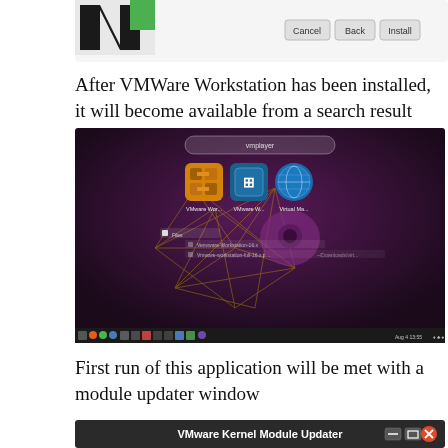[Figure (screenshot): VMWare Workstation installer dialog showing Cancel, Back, and Install buttons with a logo in the top-left corner]
After VMWare Workstation has been installed, it will become available from a search result
[Figure (screenshot): Ubuntu desktop showing a search result with VMware Workstation, VMware Workstation Player, and Virtual Machine icons on a dark purple background]
First run of this application will be met with a module updater window
[Figure (screenshot): VMware Kernel Module Updater window title bar with minimize, maximize, and close (red X) buttons]